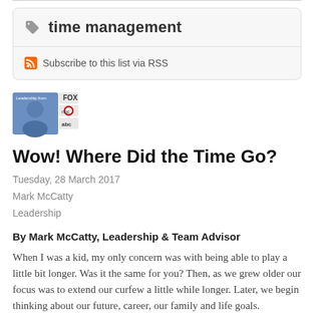time management
Subscribe to this list via RSS
[Figure (photo): Author photo of Mark McCatty with TV network logos (FOX, NBC, ABC)]
Wow! Where Did the Time Go?
Tuesday, 28 March 2017
Mark McCatty
Leadership
By Mark McCatty, Leadership & Team Advisor
When I was a kid, my only concern was with being able to play a little bit longer. Was it the same for you? Then, as we grew older our focus was to extend our curfew a little while longer. Later, we begin thinking about our future, career, our family and life goals. Suddenly, you say to yourself, "Another year already! Where did